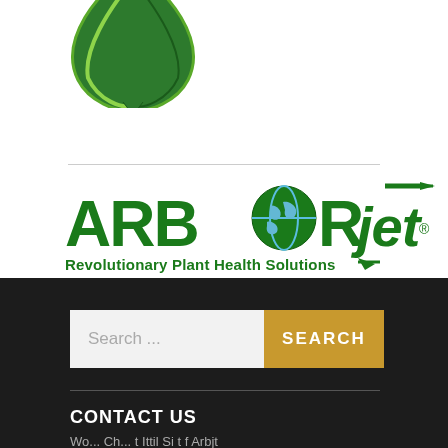[Figure (logo): Partial green leaf/plant logo clipped at top of page]
[Figure (logo): Arborjet logo with globe replacing O, syringe arrow on J, tagline 'Revolutionary Plant Health Solutions']
Search ...
CONTACT US
Wo... Ch... t I t ti l S i t f Arb j t